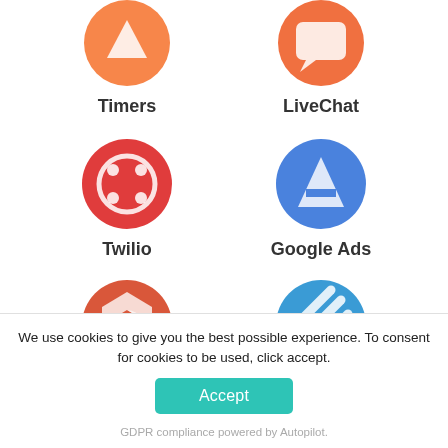[Figure (logo): Timers app icon - orange circle with white triangle/upload arrow icon]
Timers
[Figure (logo): LiveChat app icon - orange circle with white chat bubble icon]
LiveChat
[Figure (logo): Twilio app icon - red circle with white grid/dot pattern icon]
Twilio
[Figure (logo): Google Ads app icon - blue circle with white A/tent shape icon]
Google Ads
[Figure (logo): Partially visible red-orange circle with white hexagon/pie icon]
[Figure (logo): Partially visible blue circle with white diagonal lines icon]
We use cookies to give you the best possible experience. To consent for cookies to be used, click accept.
Accept
GDPR compliance powered by Autopilot.